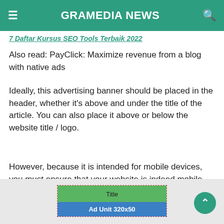GRAMEDIA NEWS
7 Daftar Kursus SEO Tools Terbaik 2022
Also read: PayClick: Maximize revenue from a blog with native ads
Ideally, this advertising banner should be placed in the header, whether it's above and under the title of the article. You can also place it above or below the website title / logo.
However, because it is intended for mobile devices, you must ensure that your website is indeed mobile friendly.
6. Adsense banner size 320 × 50
[Figure (screenshot): Ad unit preview showing a 320x50 ad format with a green Title bar and blue Ad Unit 320x50 bar inside a dashed border box, on a light grey background.]